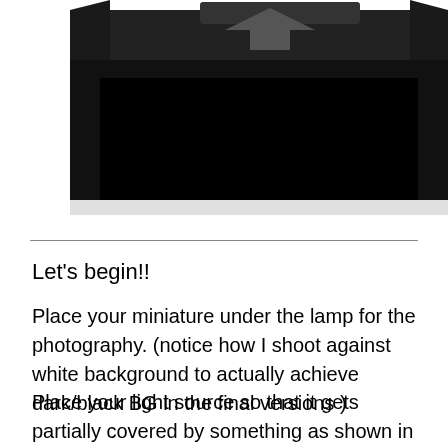[Figure (photo): A black box/lamp photography setup viewed from the front, showing a dark interior with a flat black top surface, photographed against a white background.]
Let's begin!!
Place your miniature under the lamp for the photography. (notice how I shoot against white background to actually achieve dark/black BG in the final versions )
Place your light source so that it gets partially covered by something as shown in the picture below. This is important since the lid is